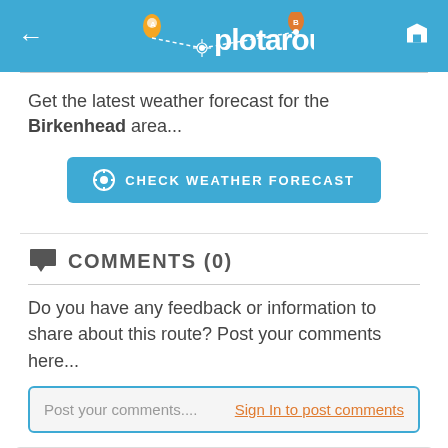plotaroute.com
Get the latest weather forecast for the Birkenhead area...
[Figure (other): CHECK WEATHER FORECAST button with gear icon]
COMMENTS (0)
Do you have any feedback or information to share about this route? Post your comments here...
Post your comments....    Sign In to post comments
EVENT ROUTE MAPS